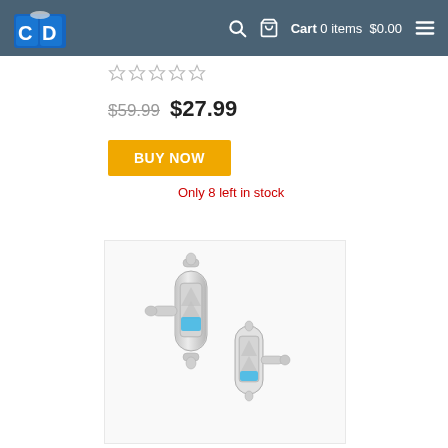CD logo | Cart 0 items $0.00
★★★★★ (stars)
$59.99  $27.99
BUY NOW
Only 8 left in stock
[Figure (photo): Two silver hourglass cufflinks with blue liquid inside, shown from slightly different angles on a white background.]